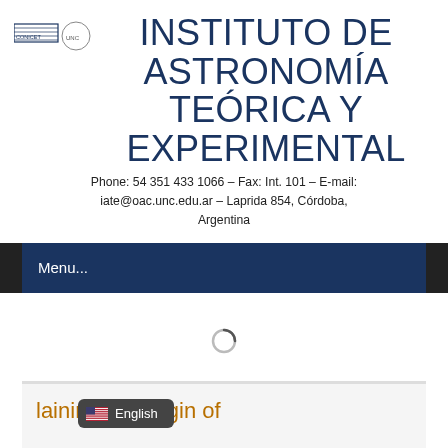[Figure (logo): CONICET and UNC institution logos in the header area]
INSTITUTO DE ASTRONOMÍA TEÓRICA Y EXPERIMENTAL
Phone: 54 351 433 1066 – Fax: Int. 101 – E-mail: iate@oac.unc.edu.ar – Laprida 854, Córdoba, Argentina
Menu...
[Figure (other): Loading spinner icon (circular loading indicator)]
laining the origin of
[Figure (other): English language selector button with US flag]